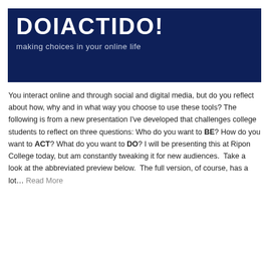[Figure (other): Dark navy blue banner with large white bold text title and subtitle 'making choices in your online life']
You interact online and through social and digital media, but do you reflect about how, why and in what way you choose to use these tools? The following is from a new presentation I've developed that challenges college students to reflect on three questions: Who do you want to BE? How do you want to ACT? What do you want to DO? I will be presenting this at Ripon College today, but am constantly tweaking it for new audiences.  Take a look at the abbreviated preview below.  The full version, of course, has a lot... Read More